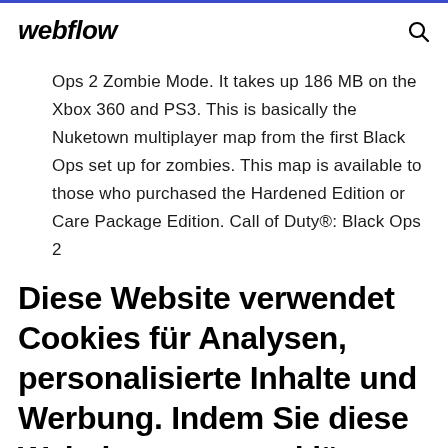webflow
Ops 2 Zombie Mode. It takes up 186 MB on the Xbox 360 and PS3. This is basically the Nuketown multiplayer map from the first Black Ops set up for zombies. This map is available to those who purchased the Hardened Edition or Care Package Edition. Call of Duty®: Black Ops 2
Diese Website verwendet Cookies für Analysen, personalisierte Inhalte und Werbung. Indem Sie diese Website nutzen, erklären Sie sich